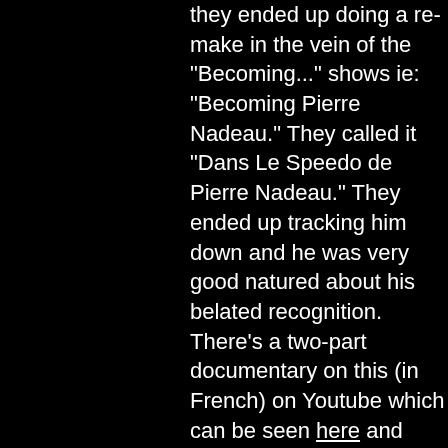they ended up doing a re-make in the vein of the "Becoming..." shows ie: "Becoming Pierre Nadeau." They called it "Dans Le Speedo de Pierre Nadeau." They ended up tracking him down and he was very good natured about his belated recognition. There's a two-part documentary on this (in French) on Youtube which can be seen here and here.
Posted by StrangerThanFiction on